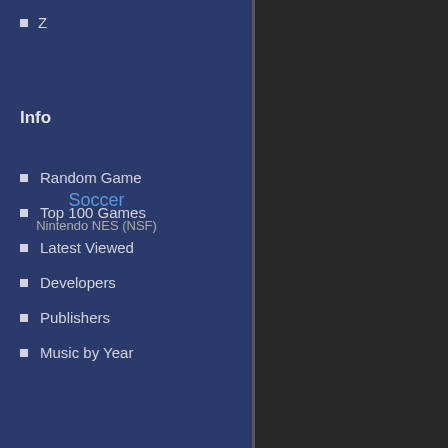Z
Info
Random Game
Top 100 Games
Latest Viewed
Developers
Publishers
Music by Year
Soccer
Nintendo NES (NSF)